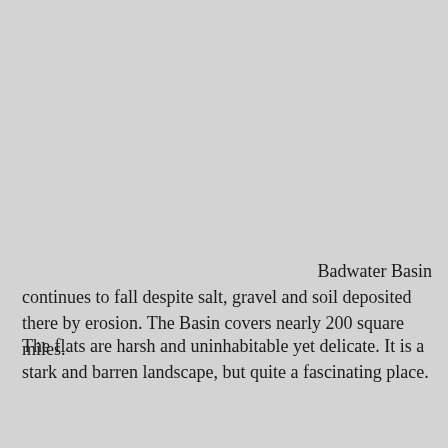Badwater Basin continues to fall despite salt, gravel and soil deposited there by erosion.  The Basin covers nearly 200 square miles.
The flats are harsh and uninhabitable yet delicate.  It is a stark and barren landscape, but quite a fascinating place.